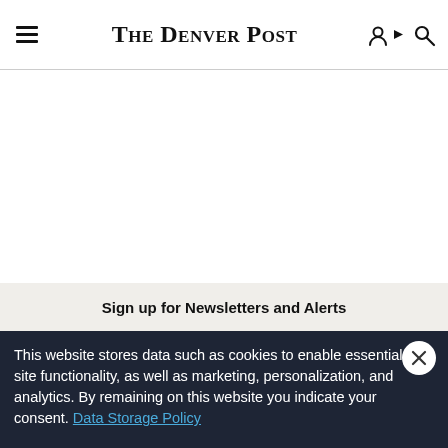The Denver Post
Sign up for Newsletters and Alerts
This website stores data such as cookies to enable essential site functionality, as well as marketing, personalization, and analytics. By remaining on this website you indicate your consent. Data Storage Policy